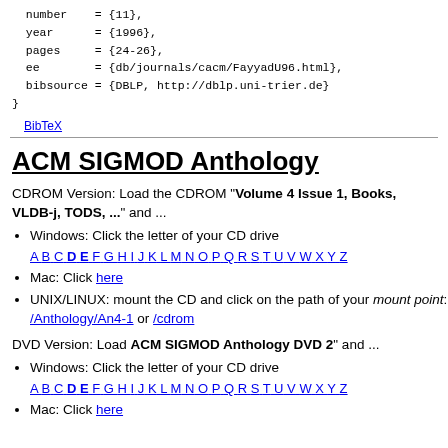number    = {11},
  year       = {1996},
  pages      = {24-26},
  ee         = {db/journals/cacm/FayyadU96.html},
  bibsource  = {DBLP, http://dblp.uni-trier.de}
}
BibTeX
ACM SIGMOD Anthology
CDROM Version: Load the CDROM "Volume 4 Issue 1, Books, VLDB-j, TODS, ..." and ...
Windows: Click the letter of your CD drive A B C D E F G H I J K L M N O P Q R S T U V W X Y Z
Mac: Click here
UNIX/LINUX: mount the CD and click on the path of your mount point: /Anthology/An4-1 or /cdrom
DVD Version: Load ACM SIGMOD Anthology DVD 2" and ...
Windows: Click the letter of your CD drive A B C D E F G H I J K L M N O P Q R S T U V W X Y Z
Mac: Click here